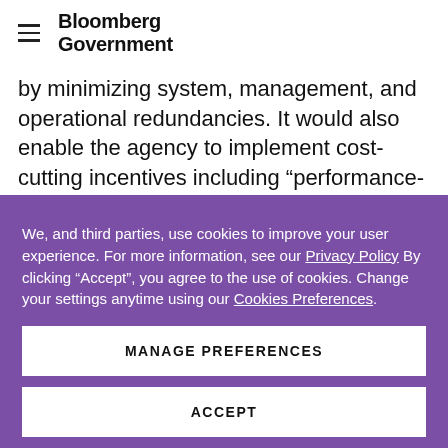Bloomberg Government
by minimizing system, management, and operational redundancies. It would also enable the agency to implement cost-cutting incentives including “performance-based services.”
We, and third parties, use cookies to improve your user experience. For more information, see our Privacy Policy By clicking “Accept”, you agree to the use of cookies. Change your settings anytime using our Cookies Preferences.
MANAGE PREFERENCES
ACCEPT